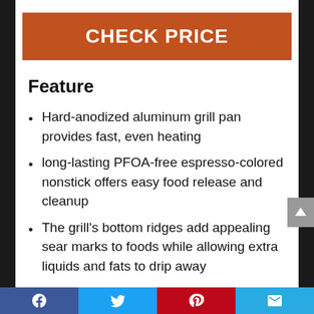CHECK PRICE
Feature
Hard-anodized aluminum grill pan provides fast, even heating
long-lasting PFOA-free espresso-colored nonstick offers easy food release and cleanup
The grill's bottom ridges add appealing sear marks to foods while allowing extra liquids and fats to drip away
Facebook | Twitter | Pinterest | Email